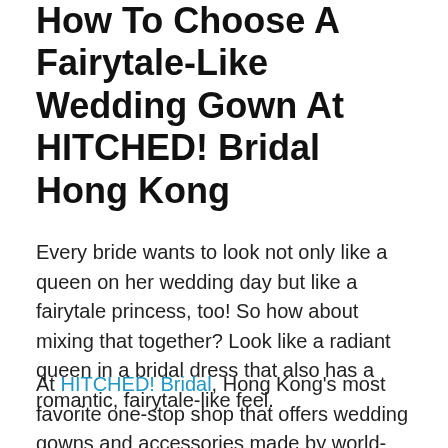How To Choose A Fairytale-Like Wedding Gown At HITCHED! Bridal Hong Kong
Every bride wants to look not only like a queen on her wedding day but like a fairytale princess, too! So how about mixing that together? Look like a radiant queen in a bridal dress that also has a romantic, fairytale-like feel.
At HITCHED! Bridal, Hong Kong's most favorite one-stop shop that offers wedding gowns and accessories made by world-renowned designers, you can find that very gown!